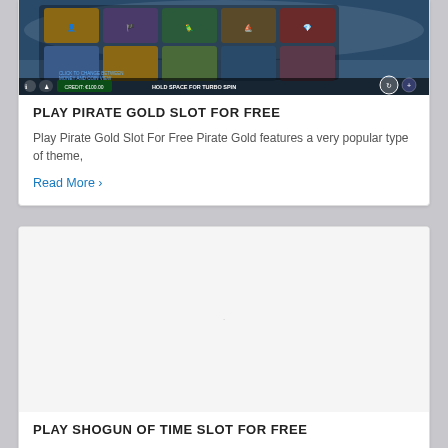[Figure (screenshot): Screenshot of Pirate Gold slot game showing a 5x3 grid of slot symbols including pirates, ships, parrots, and treasure maps against a dark ocean background. Bottom bar shows game controls including 'HOLD SPACE FOR TURBO SPIN'.]
PLAY PIRATE GOLD SLOT FOR FREE
Play Pirate Gold Slot For Free Pirate Gold features a very popular type of theme,
Read More ›
[Figure (photo): Blank/white placeholder image area for Shogun of Time slot game]
PLAY SHOGUN OF TIME SLOT FOR FREE
Play Shogun of Time Slot For Free Theme wise, the story in Shogun of Time